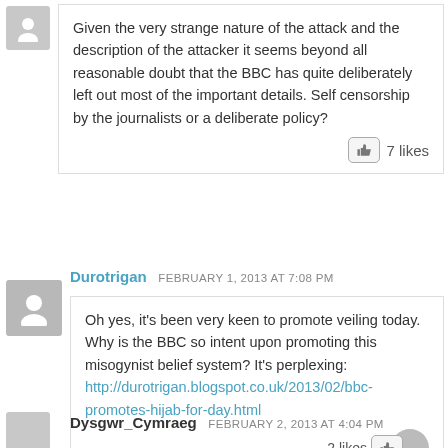Given the very strange nature of the attack and the description of the attacker it seems beyond all reasonable doubt that the BBC has quite deliberately left out most of the important details. Self censorship by the journalists or a deliberate policy?
7 likes
Durotrigan  FEBRUARY 1, 2013 AT 7:08 PM
Oh yes, it's been very keen to promote veiling today. Why is the BBC so intent upon promoting this misogynist belief system? It's perplexing: http://durotrigan.blogspot.co.uk/2013/02/bbc-promotes-hijab-for-day.html
2 likes
Dysgwr_Cymraeg  FEBRUARY 2, 2013 AT 4:04 PM